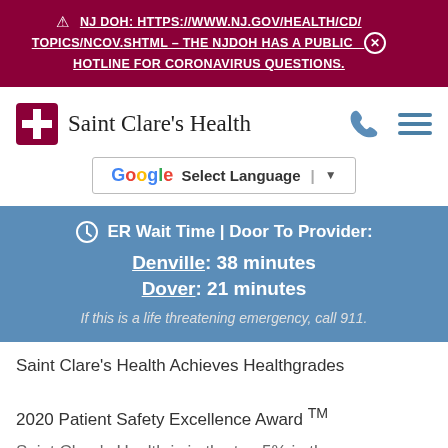⚠ NJ DOH: HTTPS://WWW.NJ.GOV/HEALTH/CD/TOPICS/NCOV.SHTML – THE NJDOH HAS A PUBLIC HOTLINE FOR CORONAVIRUS QUESTIONS.
[Figure (logo): Saint Clare's Health logo with red cross and text]
[Figure (other): Google Translate Select Language widget]
ER Wait Time | Door To Provider:
Denville: 38 minutes
Dover: 21 minutes
If this is a life threatening emergency, call 911.
Saint Clare's Health Achieves Healthgrades 2020 Patient Safety Excellence Award TM
Saint Clare's Health is in the top 5% in the